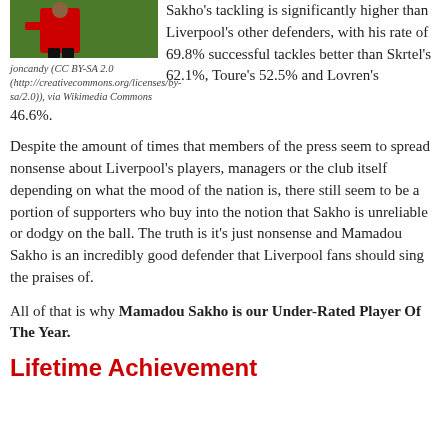[Figure (photo): Photo of Mamadou Sakho in Liverpool kit on grass]
joncandy (CC BY-SA 2.0 (http://creativecommons.org/licenses/by-sa/2.0)), via Wikimedia Commons
Sakho's tackling is significantly higher than Liverpool's other defenders, with his rate of 69.8% successful tackles better than Skrtel's 62.1%, Toure's 52.5% and Lovren's 46.6%.
Despite the amount of times that members of the press seem to spread nonsense about Liverpool's players, managers or the club itself depending on what the mood of the nation is, there still seem to be a portion of supporters who buy into the notion that Sakho is unreliable or dodgy on the ball. The truth is it's just nonsense and Mamadou Sakho is an incredibly good defender that Liverpool fans should sing the praises of.
All of that is why Mamadou Sakho is our Under-Rated Player Of The Year.
Lifetime Achievement